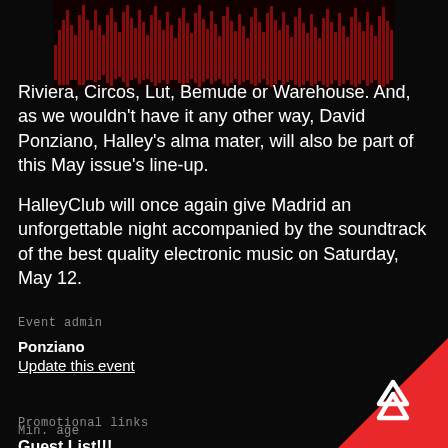[Figure (photo): Red and black waveform/crowd image strip at top center]
Riviera, Circos, Lut, Bemude or Warehouse. And, as we wouldn't have it any other way, David Ponziano, Halley's alma mater, will also be part of this May issue's line-up.
HalleyClub will once again give Madrid an unforgettable night accompanied by the soundtrack of the best quality electronic music on Saturday, May 12.
Event admin
Ponziano
Update this event
Promotional links
Guest List!!!
Min. age
[Figure (logo): Red Resident Advisor (RA) logo triangle in bottom right corner]